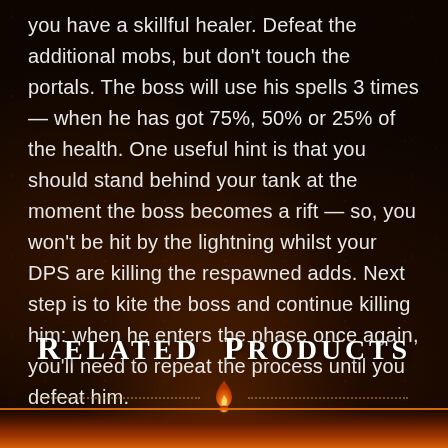you have a skillful healer. Defeat the additional mobs, but don't touch the portals. The boss will use his spells 3 times — when he has got 75%, 50% or 25% of the health. One useful hint is that you should stand behind your tank at the moment the boss becomes a rift — so, you won't be hit by the lightning whilst your DPS are killing the respawned adds. Next step is to kite the boss and continue killing him: when he enters the phase once again, you'll need to repeat the process until you defeat him.
Related products
[Figure (illustration): Decorative ornament divider: dotted lines on each side with a flame/teardrop icon in orange/amber in the center]